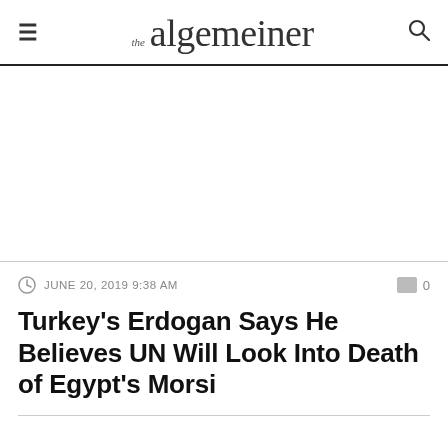the algemeiner
[Figure (other): Advertisement/blank area below header navigation]
JUNE 20, 2019 9:38 AM
Turkey's Erdogan Says He Believes UN Will Look Into Death of Egypt's Morsi